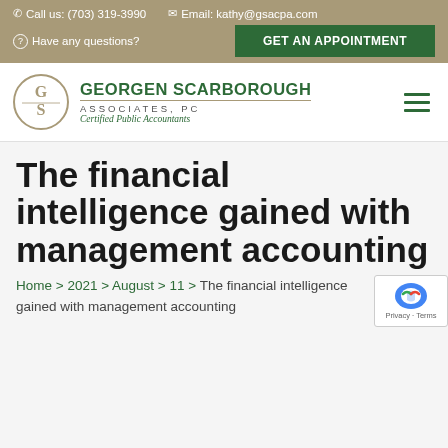Call us: (703) 319-3990 | Email: kathy@gsacpa.com | Have any questions? | GET AN APPOINTMENT
[Figure (logo): Georgen Scarborough Associates, PC logo — circular GS monogram in gold, company name in green, tagline Certified Public Accountants]
The financial intelligence gained with management accounting
Home > 2021 > August > 11 > The financial intelligence gained with management accounting